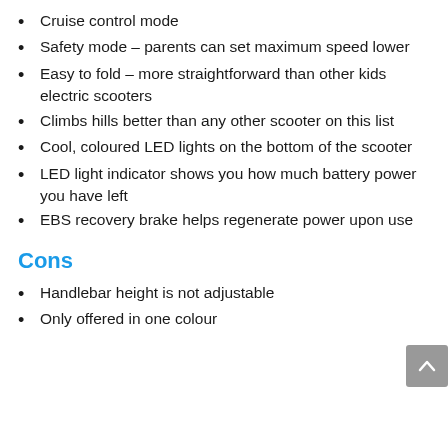Cruise control mode
Safety mode – parents can set maximum speed lower
Easy to fold – more straightforward than other kids electric scooters
Climbs hills better than any other scooter on this list
Cool, coloured LED lights on the bottom of the scooter
LED light indicator shows you how much battery power you have left
EBS recovery brake helps regenerate power upon use
Cons
Handlebar height is not adjustable
Only offered in one colour